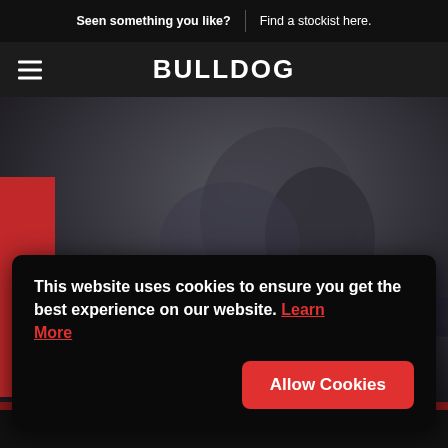Seen something you like? | Find a stockist here.
BULLDOG
[Figure (screenshot): Dark moody hero background with misty mountain silhouette and red panel on the left side]
This website uses cookies to ensure you get the best experience on our website. Learn More
Allow Cookies